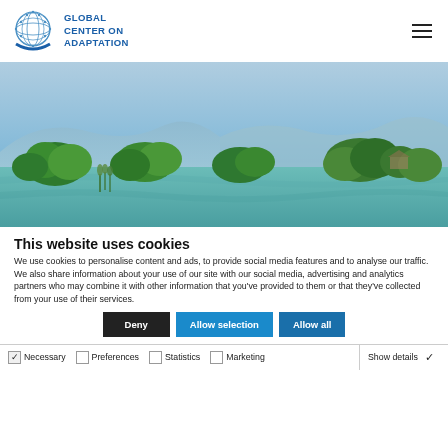GLOBAL CENTER ON ADAPTATION
[Figure (photo): Panoramic landscape photo of green trees and mangroves reflected in a calm lake or river, with misty blue mountains in the background.]
This website uses cookies
We use cookies to personalise content and ads, to provide social media features and to analyse our traffic. We also share information about your use of our site with our social media, advertising and analytics partners who may combine it with other information that you've provided to them or that they've collected from your use of their services.
Deny | Allow selection | Allow all
Necessary | Preferences | Statistics | Marketing | Show details